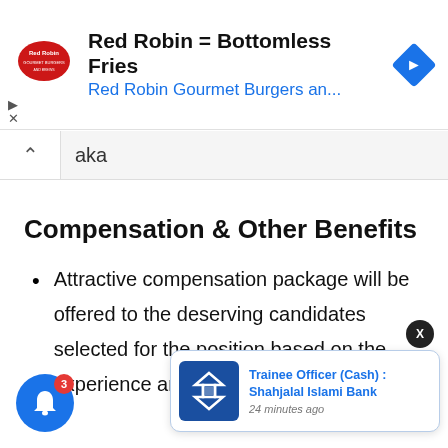[Figure (screenshot): Red Robin advertisement banner with logo, text 'Red Robin = Bottomless Fries' and 'Red Robin Gourmet Burgers an...' in blue, with a blue navigation arrow icon on the right]
aka
Compensation & Other Benefits
Attractive compensation package will be offered to the deserving candidates selected for the position based on the experience and competency.
[Figure (screenshot): Notification popup: Shahjalal Islami Bank logo, 'Trainee Officer (Cash) : Shahjalal Islami Bank', '24 minutes ago']
[Figure (screenshot): Blue bell notification icon with red badge showing number 3]